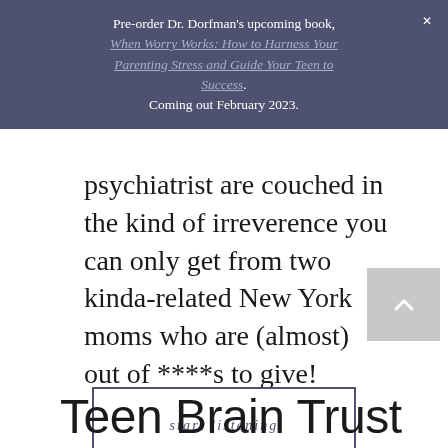Pre-order Dr. Dorfman's upcoming book, When Worry Works: How to Harness Your Parenting Stress and Guide Your Teen to Success. Coming out February 2023.
psychiatrist are couched in the kind of irreverence you can only get from two kinda-related New York moms who are (almost) out of ****s to give!
[Figure (other): Button with text 'start listening' inside a rectangular border]
[Figure (other): Grey scroll-to-top button with upward chevron arrow]
Teen Brain Trust